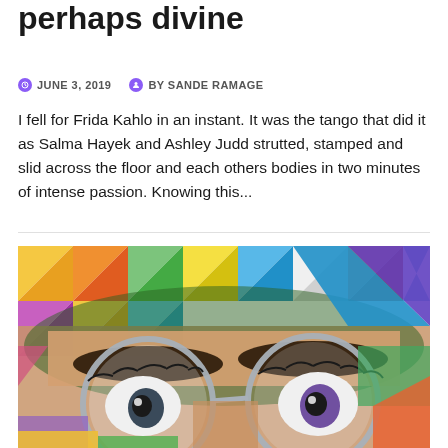perhaps divine
JUNE 3, 2019   BY SANDE RAMAGE
I fell for Frida Kahlo in an instant. It was the tango that did it as Salma Hayek and Ashley Judd strutted, stamped and slid across the floor and each others bodies in two minutes of intense passion. Knowing this...
[Figure (photo): Close-up of a colorful street mural depicting a face with glasses, showing eyes with long lashes against a background of multicolored geometric triangles]